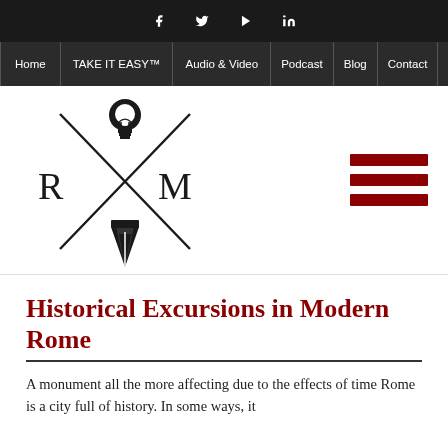Social icons: Facebook, Twitter, YouTube, LinkedIn
Home | TAKE IT EASY™ | Audio & Video | Podcast | Blog | Contact
[Figure (logo): RM logo with crossed lines, lightbulb icon at top and pen nib icon at bottom, letters R and M on sides]
[Figure (other): Hamburger menu icon — three dark red horizontal bars]
Historical Excursions in Modern Rome
A monument all the more affecting due to the effects of time Rome is a city full of history. In some ways, it